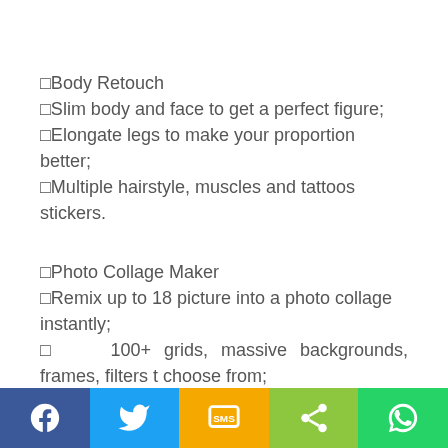□Body Retouch
□Slim body and face to get a perfect figure;
□Elongate legs to make your proportion better;
□Multiple hairstyle, muscles and tattoos stickers.
□Photo Collage Maker
□Remix up to 18 picture into a photo collage instantly;
□   100+ grids, massive backgrounds, frames, filters t choose from;
[Figure (infographic): Social sharing footer bar with Facebook, Twitter, SMS, share, and WhatsApp icons on colored backgrounds]